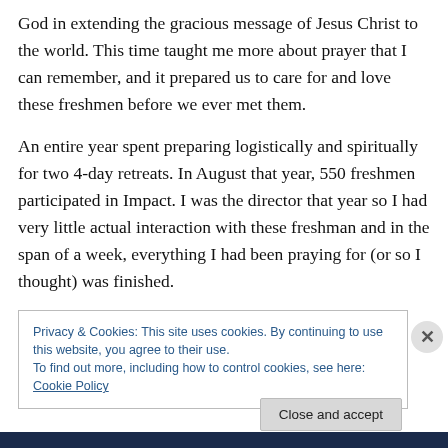God in extending the gracious message of Jesus Christ to the world. This time taught me more about prayer that I can remember, and it prepared us to care for and love these freshmen before we ever met them.
An entire year spent preparing logistically and spiritually for two 4-day retreats. In August that year, 550 freshmen participated in Impact. I was the director that year so I had very little actual interaction with these freshman and in the span of a week, everything I had been praying for (or so I thought) was finished.
Privacy & Cookies: This site uses cookies. By continuing to use this website, you agree to their use.
To find out more, including how to control cookies, see here: Cookie Policy
Close and accept